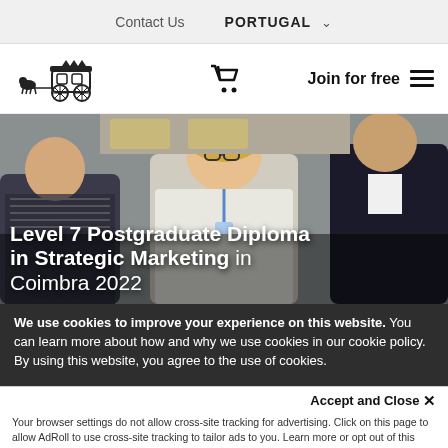Contact Us   PORTUGAL ˅
[Figure (logo): Horse-drawn carriage logo illustration in dark ink]
[Figure (illustration): Shopping cart icon]
Join for free
[Figure (photo): Three professionals smiling and discussing around a table, used as hero background image]
Level 7 Postgraduate Diploma in Strategic Marketing in Coimbra 2022
We use cookies to improve your experience on this website. You can learn more about how and why we use cookies in our cookie policy. By using this website, you agree to the use of cookies.
Accept and Close ×
Your browser settings do not allow cross-site tracking for advertising. Click on this page to allow AdRoll to use cross-site tracking to tailor ads to you. Learn more or opt out of this AdRoll tracking by clicking here. This message only appears once.